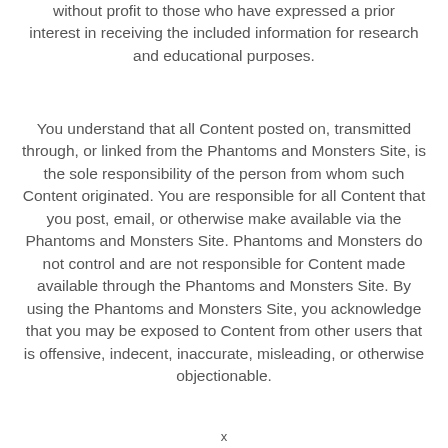without profit to those who have expressed a prior interest in receiving the included information for research and educational purposes.
You understand that all Content posted on, transmitted through, or linked from the Phantoms and Monsters Site, is the sole responsibility of the person from whom such Content originated. You are responsible for all Content that you post, email, or otherwise make available via the Phantoms and Monsters Site. Phantoms and Monsters do not control and are not responsible for Content made available through the Phantoms and Monsters Site. By using the Phantoms and Monsters Site, you acknowledge that you may be exposed to Content from other users that is offensive, indecent, inaccurate, misleading, or otherwise objectionable.
x